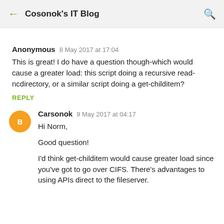Cosonok's IT Blog
Anonymous  8 May 2017 at 17:04
This is great! I do have a question though-which would cause a greater load: this script doing a recursive read-ncdirectory, or a similar script doing a get-childitem?
REPLY
Carsonok  9 May 2017 at 04:17
Hi Norm,
Good question!
I'd think get-childitem would cause greater load since you've got to go over CIFS. There's advantages to using APIs direct to the fileserver.